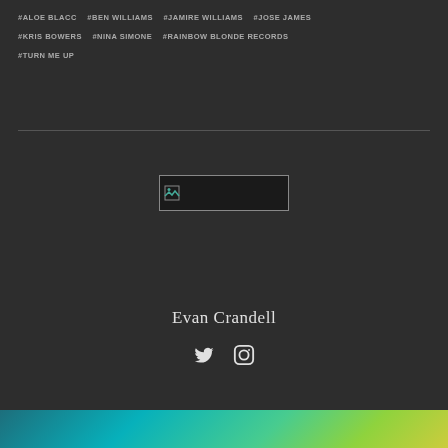#ALOE BLACC
#BEN WILLIAMS
#JAMIRE WILLIAMS
#JOSE JAMES
#KRIS BOWERS
#NINA SIMONE
#RAINBOW BLONDE RECORDS
#TURN ME UP
[Figure (photo): Broken/missing image placeholder with small icon]
Evan Crandell
[Figure (illustration): Twitter and Instagram social media icons]
[Figure (photo): Colorful teal and green abstract texture image at bottom of page]